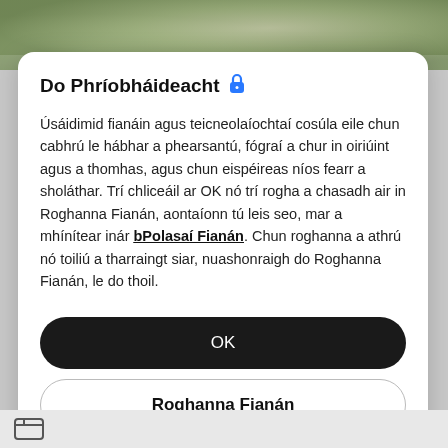[Figure (photo): Blurred outdoor/nature scene shown at top of page behind modal]
Do Phríobháideacht 🔒
Úsáidimid fianáin agus teicneolaíochtaí cosúla eile chun cabhrú le hábhar a phearsantú, fógraí a chur in oiriúint agus a thomhas, agus chun eispéireas níos fearr a sholáthar. Trí chliceáil ar OK nó trí rogha a chasadh air in Roghanna Fianán, aontaíonn tú leis seo, mar a mhínítear inár bPolasaí Fianán. Chun roghanna a athrú nó toiliú a tharraingt siar, nuashonraigh do Roghanna Fianán, le do thoil.
OK
Roghanna Fianán